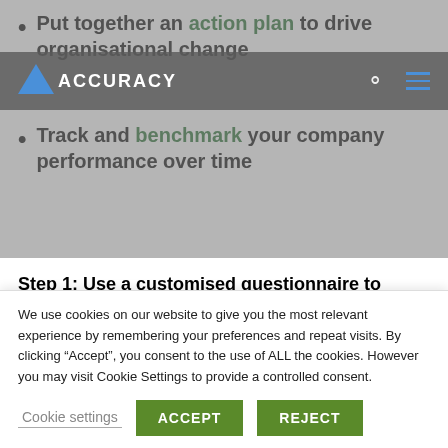Put together an action plan to drive organisational change
Track and benchmark your company performance over time
Step 1: Use a customised questionnaire to understand how your employees feel about working in your company
Step 2: Identify any “pain points” or areas
We use cookies on our website to give you the most relevant experience by remembering your preferences and repeat visits. By clicking “Accept”, you consent to the use of ALL the cookies. However you may visit Cookie Settings to provide a controlled consent.